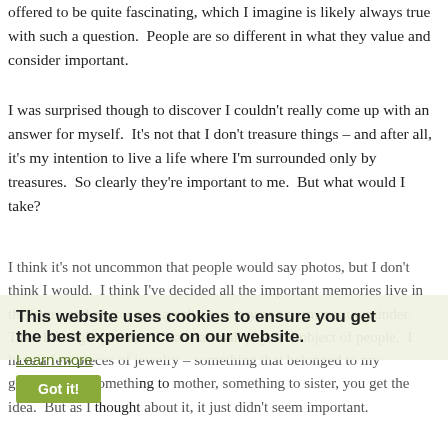offered to be quite fascinating, which I imagine is likely always true with such a question.  People are so different in what they value and consider important.
I was surprised though to discover I couldn't really come up with an answer for myself.  It's not that I don't treasure things – and after all, it's my intention to live a life where I'm surrounded only by treasures.  So clearly they're important to me.  But what would I take?
I think it's not uncommon that people would say photos, but I don't think I would.  I think I've decided all the important memories live in the heart, and photos just aren't necessary as a permanent reminder.  Then I thought perhaps I'd take a small physical object of people.  I have a few pieces of jewelry – something that belonged to my grandmother, something to mother, something to sister, you get the idea.  But as I thought about it, it just didn't seem important.
This website uses cookies to ensure you get the best experience on our website.
Learn more
Got it!